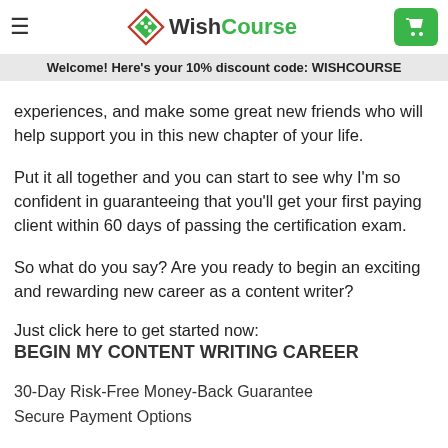WishCourse — Welcome! Here's your 10% discount code: WISHCOURSE
where you can connect with other writers who are in your shoes. Together you'll make connections to build your content marketing network, share experiences, and make some great new friends who will help support you in this new chapter of your life.
Put it all together and you can start to see why I'm so confident in guaranteeing that you'll get your first paying client within 60 days of passing the certification exam.
So what do you say? Are you ready to begin an exciting and rewarding new career as a content writer?
Just click here to get started now:
BEGIN MY CONTENT WRITING CAREER
30-Day Risk-Free Money-Back Guarantee
Secure Payment Options